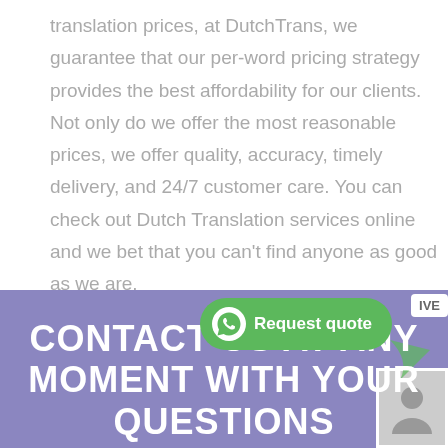translation prices, at DutchTrans, we guarantee that our per-word pricing strategy provides the best affordability for our clients. Not only do we offer the most reasonable prices, we offer quality, accuracy, timely delivery, and 24/7 customer care. You can check out Dutch Translation services online and we bet that you can't find anyone as good as we are.
CONTACT US AT ANY MOMENT WITH YOUR QUESTIONS
[Figure (screenshot): WhatsApp 'Request quote' green button and a live chat agent avatar box overlaid on purple contact section]